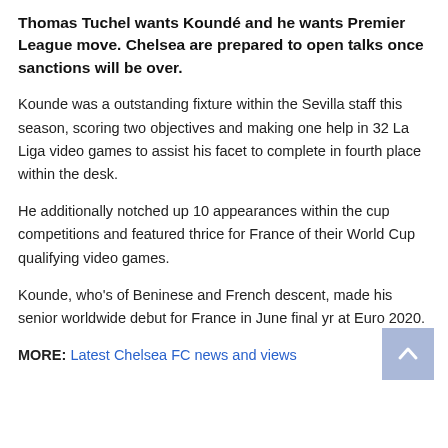Thomas Tuchel wants Koundé and he wants Premier League move. Chelsea are prepared to open talks once sanctions will be over.
Kounde was a outstanding fixture within the Sevilla staff this season, scoring two objectives and making one help in 32 La Liga video games to assist his facet to complete in fourth place within the desk.
He additionally notched up 10 appearances within the cup competitions and featured thrice for France of their World Cup qualifying video games.
Kounde, who's of Beninese and French descent, made his senior worldwide debut for France in June final yr at Euro 2020.
MORE: Latest Chelsea FC news and views